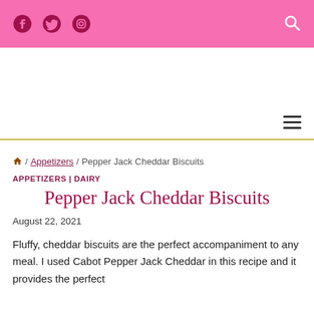Facebook Twitter Instagram [social icons] [search icon]
[hamburger menu icon]
🏠 / Appetizers / Pepper Jack Cheddar Biscuits
APPETIZERS | DAIRY
Pepper Jack Cheddar Biscuits
August 22, 2021
Fluffy, cheddar biscuits are the perfect accompaniment to any meal. I used Cabot Pepper Jack Cheddar in this recipe and it provides the perfect